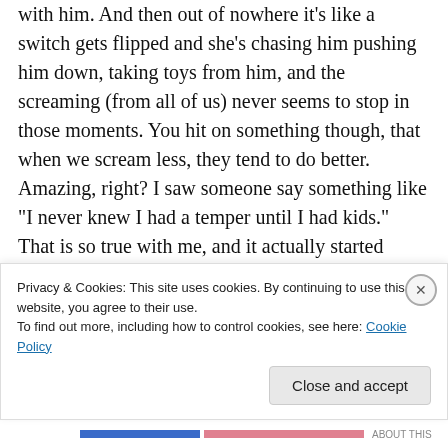with him. And then out of nowhere it's like a switch gets flipped and she's chasing him pushing him down, taking toys from him, and the screaming (from all of us) never seems to stop in those moments. You hit on something though, that when we scream less, they tend to do better. Amazing, right? I saw someone say something like “I never knew I had a temper until I had kids.” That is so true with me, and it actually started when I was pregnant with Chloe towards my dad’s two big dogs we were keeping
Privacy & Cookies: This site uses cookies. By continuing to use this website, you agree to their use.
To find out more, including how to control cookies, see here: Cookie Policy